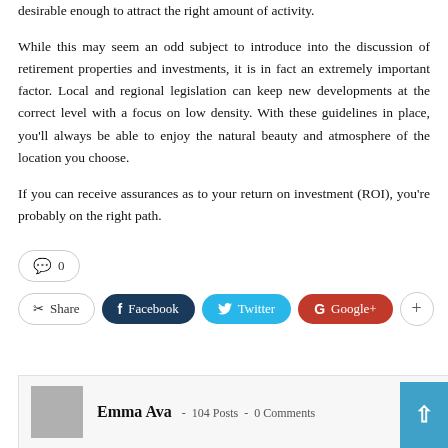desirable enough to attract the right amount of activity.
While this may seem an odd subject to introduce into the discussion of retirement properties and investments, it is in fact an extremely important factor. Local and regional legislation can keep new developments at the correct level with a focus on low density. With these guidelines in place, you’ll always be able to enjoy the natural beauty and atmosphere of the location you choose.
If you can receive assurances as to your return on investment (ROI), you’re probably on the right path.
[Figure (infographic): Social sharing row with comment count (0), Share button, Facebook button, Twitter button, Google+ button, and plus button]
[Figure (infographic): Author box with avatar placeholder, name Emma Ava, 104 Posts, 0 Comments, and scroll-to-top blue button]